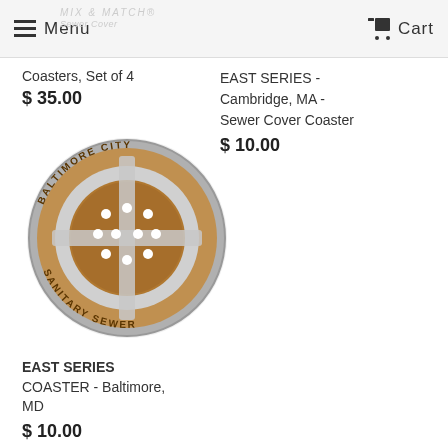Menu   Cart
Coasters, Set of 4
$35.00
EAST SERIES - Cambridge, MA - Sewer Cover Coaster
$10.00
[Figure (photo): A round sewer cover coaster from Baltimore City Sanitary Sewer, with bronze/copper textured center and silver metallic ring, showing text 'BALTIMORE CITY SANITARY SEWER' around the edge, with circular dot pattern in the center.]
EAST SERIES COASTER - Baltimore, MD
$10.00